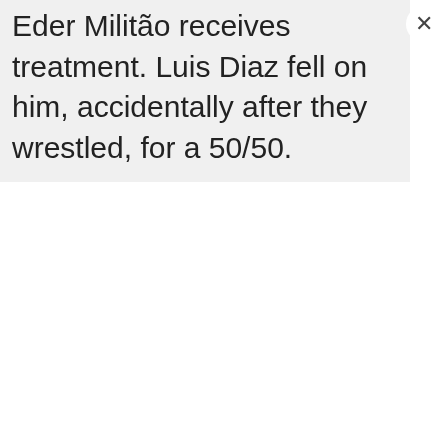Eder Militão receives treatment. Luis Diaz fell on him, accidentally after they wrestled, for a 50/50.